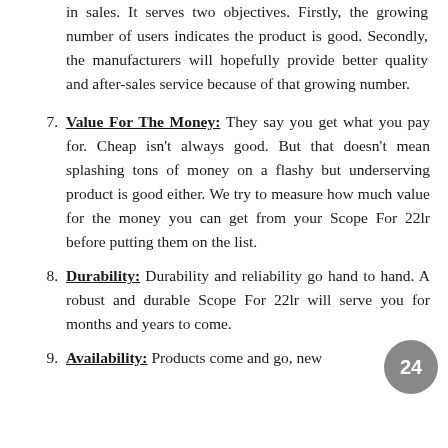in sales. It serves two objectives. Firstly, the growing number of users indicates the product is good. Secondly, the manufacturers will hopefully provide better quality and after-sales service because of that growing number.
7. Value For The Money: They say you get what you pay for. Cheap isn't always good. But that doesn't mean splashing tons of money on a flashy but underserving product is good either. We try to measure how much value for the money you can get from your Scope For 22lr before putting them on the list.
8. Durability: Durability and reliability go hand to hand. A robust and durable Scope For 22lr will serve you for months and years to come.
9. Availability: Products come and go, new